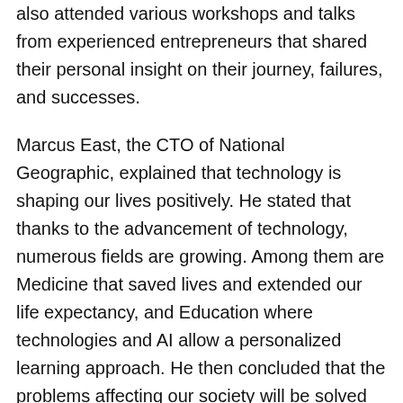also attended various workshops and talks from experienced entrepreneurs that shared their personal insight on their journey, failures, and successes.
Marcus East, the CTO of National Geographic, explained that technology is shaping our lives positively. He stated that thanks to the advancement of technology, numerous fields are growing. Among them are Medicine that saved lives and extended our life expectancy, and Education where technologies and AI allow a personalized learning approach. He then concluded that the problems affecting our society will be solved by digital entrepreneurs rather than governments.